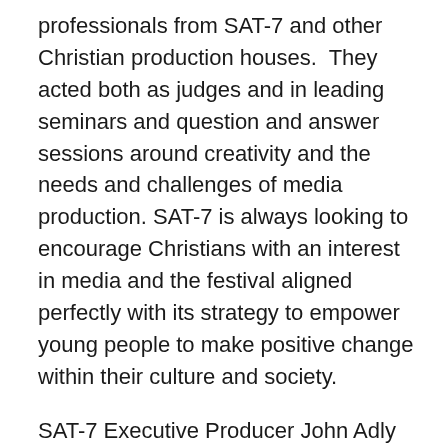professionals from SAT-7 and other Christian production houses.  They acted both as judges and in leading seminars and question and answer sessions around creativity and the needs and challenges of media production. SAT-7 is always looking to encourage Christians with an interest in media and the festival aligned perfectly with its strategy to empower young people to make positive change within their culture and society.
SAT-7 Executive Producer John Adly and SAT-7 director and producer Maggie Morgan, herself an award-winning documentary and film-maker, were both panelists at the festival. Evidence of SAT-7's role in nurturing Christian media talent also came